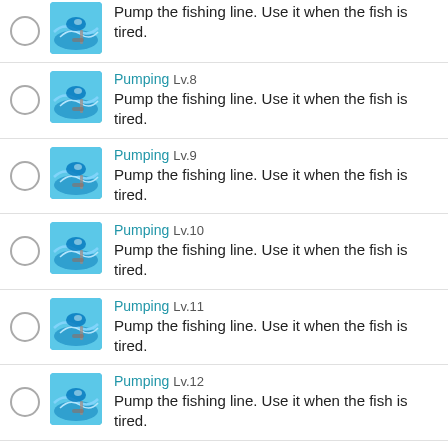Pump the fishing line. Use it when the fish is tired.
Pumping Lv.8 — Pump the fishing line. Use it when the fish is tired.
Pumping Lv.9 — Pump the fishing line. Use it when the fish is tired.
Pumping Lv.10 — Pump the fishing line. Use it when the fish is tired.
Pumping Lv.11 — Pump the fishing line. Use it when the fish is tired.
Pumping Lv.12 — Pump the fishing line. Use it when the fish is tired.
Pumping Lv.13 — Pump the fishing line. Use it when the fish is tired.